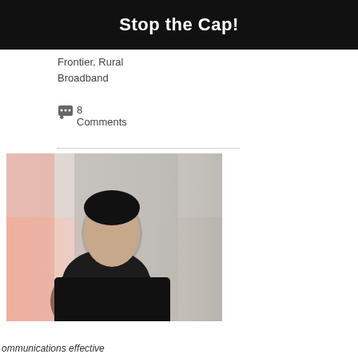Stop the Cap!
Frontier, Rural Broadband
8 Comments
[Figure (photo): A person in a dark suit jacket photographed from roughly chest up, with a blurred background showing pinkish/beige tones on the left and grey on the right.]
ommunications effective